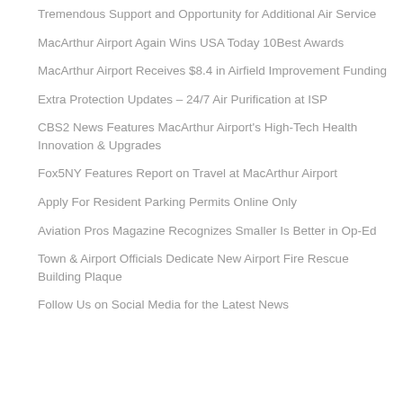Tremendous Support and Opportunity for Additional Air Service
MacArthur Airport Again Wins USA Today 10Best Awards
MacArthur Airport Receives $8.4 in Airfield Improvement Funding
Extra Protection Updates – 24/7 Air Purification at ISP
CBS2 News Features MacArthur Airport's High-Tech Health Innovation & Upgrades
Fox5NY Features Report on Travel at MacArthur Airport
Apply For Resident Parking Permits Online Only
Aviation Pros Magazine Recognizes Smaller Is Better in Op-Ed
Town & Airport Officials Dedicate New Airport Fire Rescue Building Plaque
Follow Us on Social Media for the Latest News